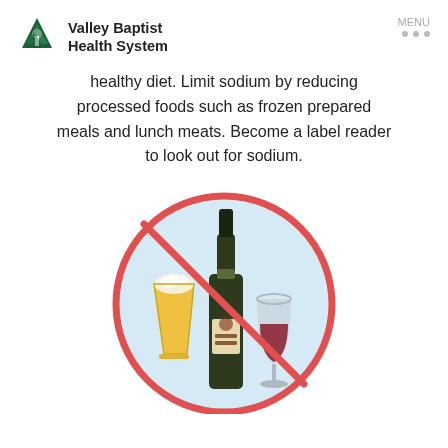Valley Baptist Health System | MENU
healthy diet. Limit sodium by reducing processed foods such as frozen prepared meals and lunch meats. Become a label reader to look out for sodium.
[Figure (illustration): A no-alcohol illustration: a beer glass, wine bottle, and wine glass inside a light blue circle with a red prohibition sign (circle with diagonal line) across them.]